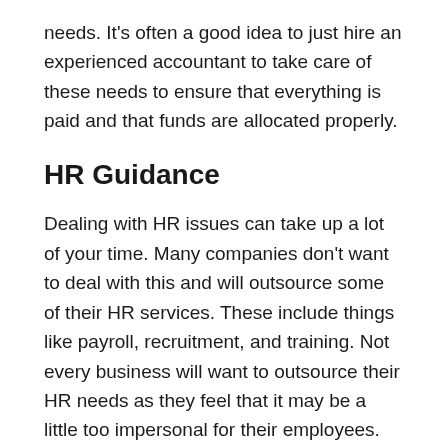needs. It's often a good idea to just hire an experienced accountant to take care of these needs to ensure that everything is paid and that funds are allocated properly.
HR Guidance
Dealing with HR issues can take up a lot of your time. Many companies don't want to deal with this and will outsource some of their HR services. These include things like payroll, recruitment, and training. Not every business will want to outsource their HR needs as they feel that it may be a little too impersonal for their employees. For the most part, though, it can allow for some of their needs to get taken